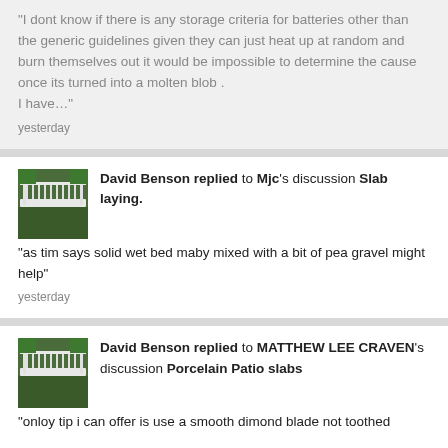"I dont know if there is any storage criteria for batteries other than the generic guidelines given they can just heat up at random and burn themselves out it would be impossible to determine the cause once its turned into a molten blob .
I have..."
yesterday
[Figure (photo): Thumbnail image of a bridge over green water]
David Benson replied to Mjc's discussion Slab laying.
"as tim says solid wet bed maby mixed with a bit of pea gravel might help"
yesterday
[Figure (photo): Thumbnail image of a bridge over green water]
David Benson replied to MATTHEW LEE CRAVEN's discussion Porcelain Patio slabs
"onloy tip i can offer is use a smooth dimond blade not toothed